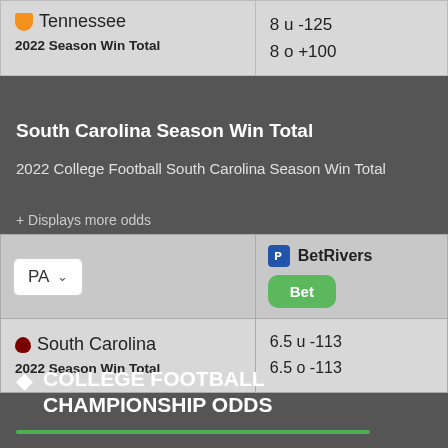| Team | Odds |
| --- | --- |
| Tennessee 2022 Season Win Total | 8 u -125
8 o +100 |
South Carolina Season Win Total
2022 College Football South Carolina Season Win Total
+ Displays more odds
| PA | BetRivers Bet |
| --- | --- |
| South Carolina 2022 Season Win Total | 6.5 u -113
6.5 o -113 |
COLLEGE FOOTBALL CHAMPIONSHIP ODDS